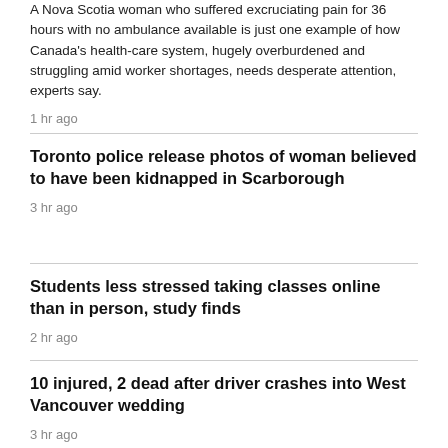A Nova Scotia woman who suffered excruciating pain for 36 hours with no ambulance available is just one example of how Canada's health-care system, hugely overburdened and struggling amid worker shortages, needs desperate attention, experts say.
1 hr ago
Toronto police release photos of woman believed to have been kidnapped in Scarborough
3 hr ago
Students less stressed taking classes online than in person, study finds
2 hr ago
10 injured, 2 dead after driver crashes into West Vancouver wedding
3 hr ago